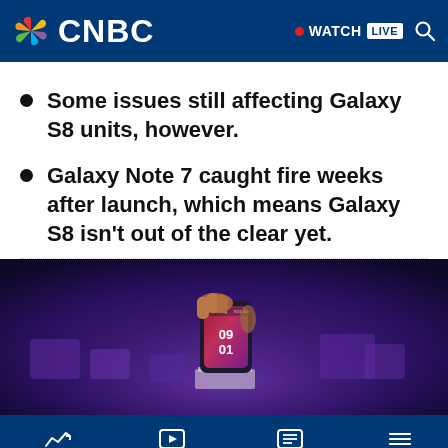CNBC — WATCH LIVE
Some issues still affecting Galaxy S8 units, however.
Galaxy Note 7 caught fire weeks after launch, which means Galaxy S8 isn't out of the clear yet.
[Figure (photo): A hand holding a Samsung Galaxy S8 smartphone displaying a lock screen with the time 09:01, shown at a launch event with purple ambient lighting and product boxes in the background.]
MARKETS  CNBC TV  WATCHLIST  MENU